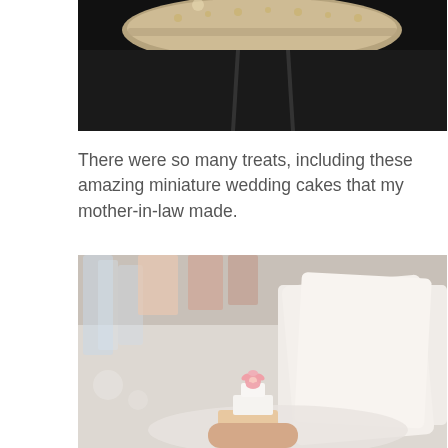[Figure (photo): Top portion of a photo showing a plate or tiered stand on a dark table surface, partially cropped at the top of the page]
There were so many treats, including these amazing miniature wedding cakes that my mother-in-law made.
[Figure (photo): Photo of a restaurant table setting with white napkins, glasses, and a small miniature wedding cake with pink flower decoration being held by someone's fingers in the foreground]